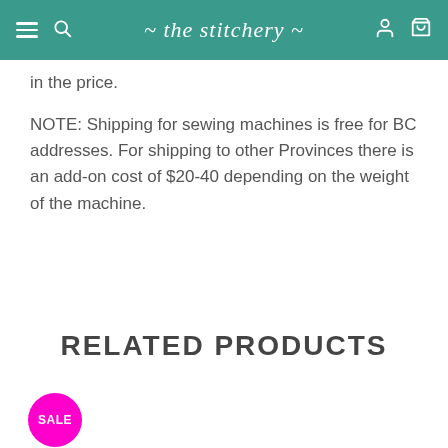the stitchery
in the price.
NOTE: Shipping for sewing machines is free for BC addresses. For shipping to other Provinces there is an add-on cost of $20-40 depending on the weight of the machine.
RELATED PRODUCTS
SALE